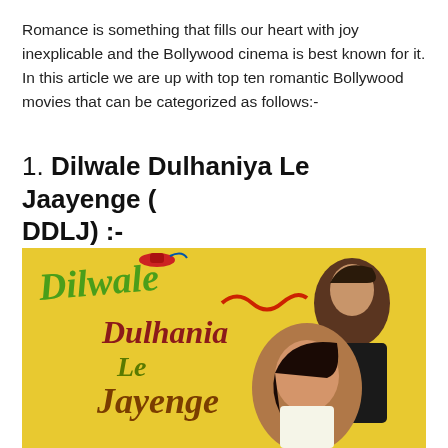Romance is something that fills our heart with joy inexplicable and the Bollywood cinema is best known for it. In this article we are up with top ten romantic Bollywood movies that can be categorized as follows:-
1. Dilwale Dulhaniya Le Jaayenge ( DDLJ) :-
[Figure (photo): Movie poster for Dilwale Dulhania Le Jayenge (DDLJ) showing the movie title in stylized colorful text on a yellow background, with two actors embracing — a man and a woman.]